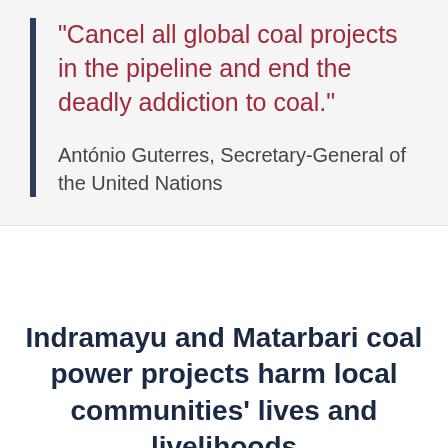"Cancel all global coal projects in the pipeline and end the deadly addiction to coal."
António Guterres, Secretary-General of the United Nations
Indramayu and Matarbari coal power projects harm local communities' lives and livelihoods